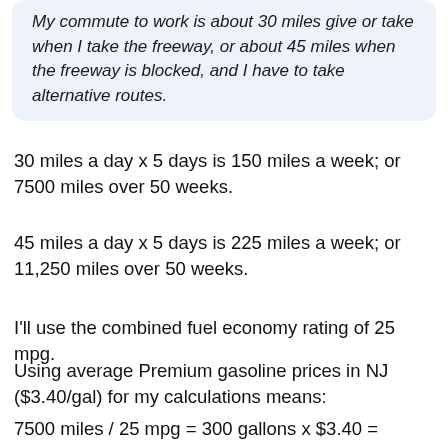My commute to work is about 30 miles give or take when I take the freeway, or about 45 miles when the freeway is blocked, and I have to take alternative routes.
30 miles a day x 5 days is 150 miles a week; or 7500 miles over 50 weeks.
45 miles a day x 5 days is 225 miles a week; or 11,250 miles over 50 weeks.
I'll use the combined fuel economy rating of 25 mpg.
Using average Premium gasoline prices in NJ ($3.40/gal) for my calculations means:
7500 miles / 25 mpg = 300 gallons x $3.40 = $1020 in total annual fuel cost.
11,250 miles / 25 mpg = 450 gallons x $3.40 = $1530 in total annual fuel cost.